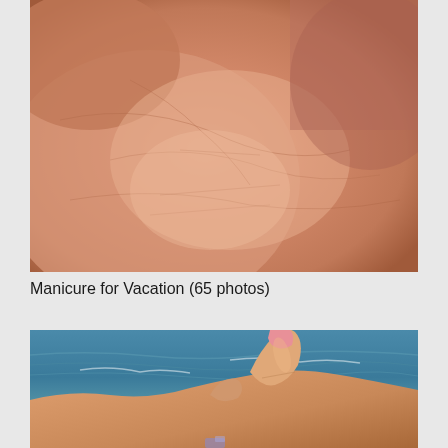[Figure (photo): Close-up photo of a hand/fingers with skin texture visible, pinkish-beige tones, close macro shot.]
Manicure for Vacation (65 photos)
[Figure (photo): Photo of a hand with pink manicured nails held up against a backdrop of blue ocean/sea water with white waves and a bright day.]